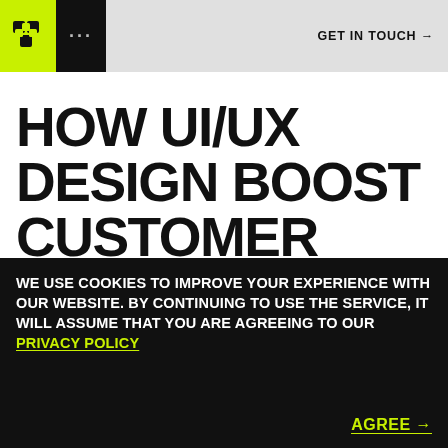GET IN TOUCH →
HOW UI/UX DESIGN BOOST CUSTOMER ENGAGEMENT?
IN THIS ARTICLE, WE'LL COVER THE
WE USE COOKIES TO IMPROVE YOUR EXPERIENCE WITH OUR WEBSITE. BY CONTINUING TO USE THE SERVICE, IT WILL ASSUME THAT YOU ARE AGREEING TO OUR PRIVACY POLICY
AGREE →